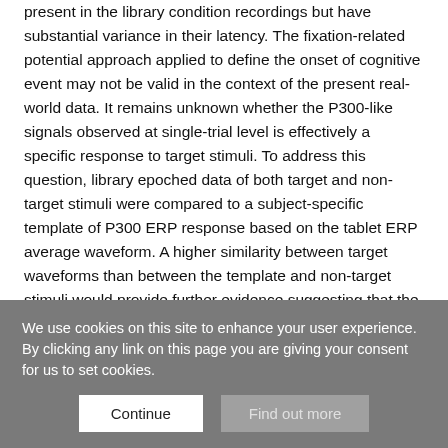present in the library condition recordings but have substantial variance in their latency. The fixation-related potential approach applied to define the onset of cognitive event may not be valid in the context of the present real-world data. It remains unknown whether the P300-like signals observed at single-trial level is effectively a specific response to target stimuli. To address this question, library epoched data of both target and non-target stimuli were compared to a subject-specific template of P300 ERP response based on the tablet ERP average waveform. A higher similarity between target waveforms than between the template and non-target stimuli would provide further evidence suggesting that the library target responses are effectively reflecting time-shifted P300 ERP responses.
We use cookies on this site to enhance your user experience. By clicking any link on this page you are giving your consent for us to set cookies.